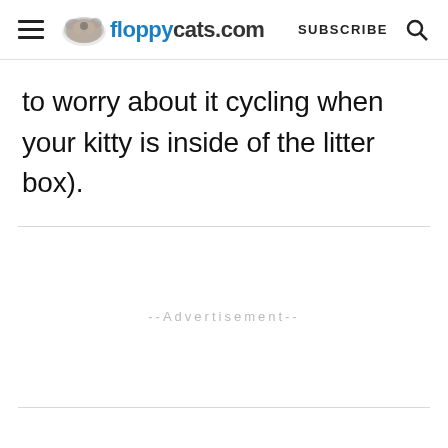floppycats.com SUBSCRIBE
to worry about it cycling when your kitty is inside of the litter box).
--Advertisement--